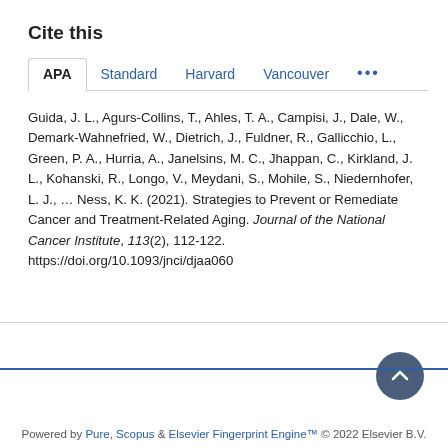Cite this
APA | Standard | Harvard | Vancouver | ...
Guida, J. L., Agurs-Collins, T., Ahles, T. A., Campisi, J., Dale, W., Demark-Wahnefried, W., Dietrich, J., Fuldner, R., Gallicchio, L., Green, P. A., Hurria, A., Janelsins, M. C., Jhappan, C., Kirkland, J. L., Kohanski, R., Longo, V., Meydani, S., Mohile, S., Niedernhofer, L. J., ... Ness, K. K. (2021). Strategies to Prevent or Remediate Cancer and Treatment-Related Aging. Journal of the National Cancer Institute, 113(2), 112-122. https://doi.org/10.1093/jnci/djaa060
Powered by Pure, Scopus & Elsevier Fingerprint Engine™ © 2022 Elsevier B.V.